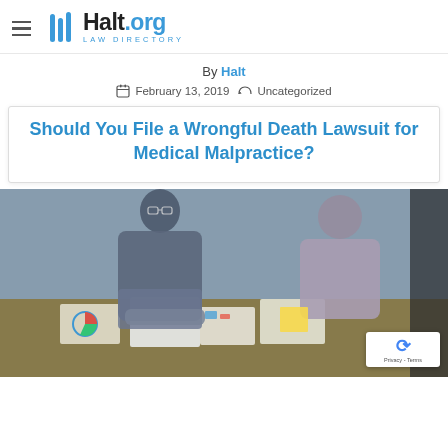Halt.org Law Directory
By Halt
February 13, 2019  Uncategorized
Should You File a Wrongful Death Lawsuit for Medical Malpractice?
[Figure (photo): Two people leaning over a table covered with papers, charts, and documents in an office setting]